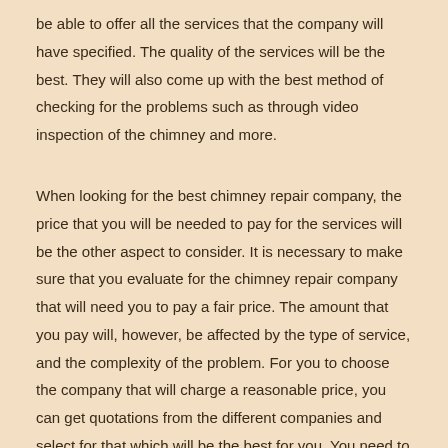be able to offer all the services that the company will have specified. The quality of the services will be the best. They will also come up with the best method of checking for the problems such as through video inspection of the chimney and more.
When looking for the best chimney repair company, the price that you will be needed to pay for the services will be the other aspect to consider. It is necessary to make sure that you evaluate for the chimney repair company that will need you to pay a fair price. The amount that you pay will, however, be affected by the type of service, and the complexity of the problem. For you to choose the company that will charge a reasonable price, you can get quotations from the different companies and select for that which will be the best for you. You need to ensure that the quality of their services will be the best.